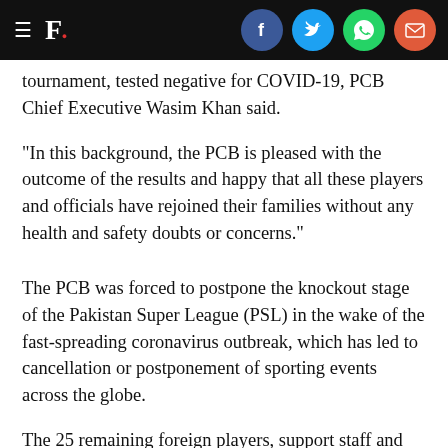F. [hamburger menu, social icons: Facebook, Twitter, WhatsApp, Email]
tournament, tested negative for COVID-19, PCB Chief Executive Wasim Khan said.
"In this background, the PCB is pleased with the outcome of the results and happy that all these players and officials have rejoined their families without any health and safety doubts or concerns."
The PCB was forced to postpone the knockout stage of the Pakistan Super League (PSL) in the wake of the fast-spreading coronavirus outbreak, which has led to cancellation or postponement of sporting events across the globe.
The 25 remaining foreign players, support staff and match officials have already departed for their respective destinations.